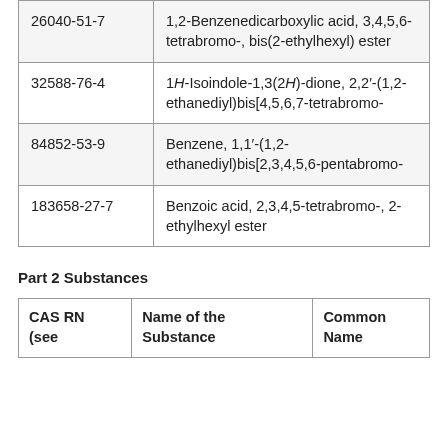| CAS RN | Name of the Substance |
| --- | --- |
| 26040-51-7 | 1,2-Benzenedicarboxylic acid, 3,4,5,6-tetrabromo-, bis(2-ethylhexyl) ester |
| 32588-76-4 | 1H-Isoindole-1,3(2H)-dione, 2,2′-(1,2-ethanediyl)bis[4,5,6,7-tetrabromo- |
| 84852-53-9 | Benzene, 1,1′-(1,2-ethanediyl)bis[2,3,4,5,6-pentabromo- |
| 183658-27-7 | Benzoic acid, 2,3,4,5-tetrabromo-, 2-ethylhexyl ester |
Part 2 Substances
| CAS RN (see | Name of the Substance | Common Name |
| --- | --- | --- |